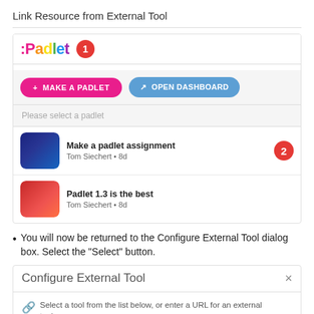Link Resource from External Tool
[Figure (screenshot): Padlet LTI integration UI showing the Padlet logo with step badge 1, buttons for 'MAKE A PADLET' and 'OPEN DASHBOARD', a 'Please select a padlet' placeholder, and two padlet items listed: 'Make a padlet assignment' by Tom Siechert 8d ago (with step badge 2) and 'Padlet 1.3 is the best' by Tom Siechert 8d ago.]
You will now be returned to the Configure External Tool dialog box. Select the "Select" button.
[Figure (screenshot): Configure External Tool dialog box with close X button, a divider, and text: 'Select a tool from the list below, or enter a URL for an external tool...']